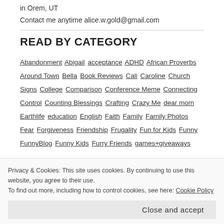in Orem, UT
Contact me anytime alice.w.gold@gmail.com
READ BY CATEGORY
Abandonment  Abigail  acceptance  ADHD  African Proverbs  Around Town  Bella  Book Reviews  Cali  Caroline  Church Signs  College  Comparison  Conference Meme  Connecting  Control  Counting Blessings  Crafting  Crazy Me  dear mom  Earthlife  education  English  Faith  Family  Family Photos  Fear  Forgiveness  Friendship  Frugality  Fun for Kids  Funny  FunnyBlog  Funny Kids  Furry Friends  games+giveaways
Privacy & Cookies: This site uses cookies. By continuing to use this website, you agree to their use.
To find out more, including how to control cookies, see here: Cookie Policy
Close and accept